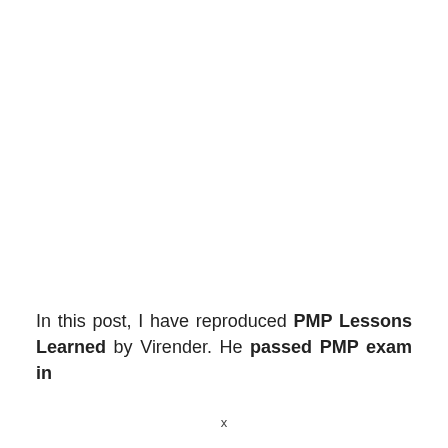In this post, I have reproduced PMP Lessons Learned by Virender. He passed PMP exam in
x